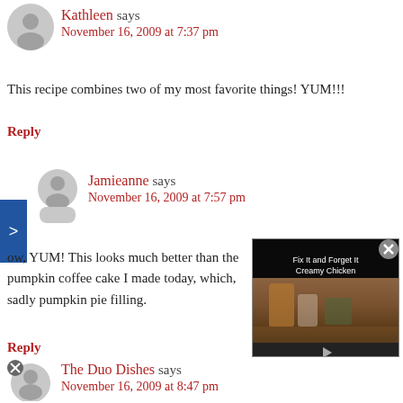Kathleen says
November 16, 2009 at 7:37 pm
This recipe combines two of my most favorite things! YUM!!!
Reply
Jamieanne says
November 16, 2009 at 7:57 pm
ow, YUM! This looks much better than the pumpkin coffee cake I made today, which, sadly pumpkin pie filling.
Reply
[Figure (screenshot): Embedded video thumbnail showing 'Fix It and Forget It Creamy Chicken' with a drink glass and food items, with a play button overlay]
The Duo Dishes says
November 16, 2009 at 8:47 pm